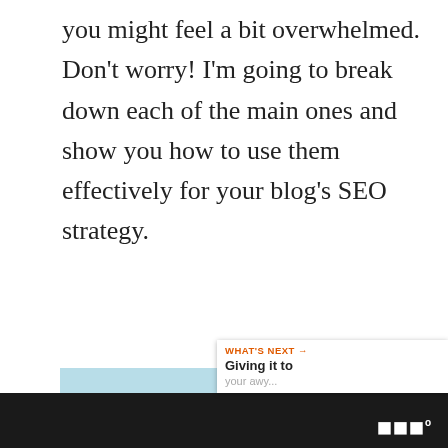you might feel a bit overwhelmed. Don't worry! I'm going to break down each of the main ones and show you how to use them effectively for your blog's SEO strategy.
[Figure (photo): Overhead view of two hands typing on a white keyboard on a light blue desk, with a white coffee cup on the left and pink/white flowers on the right. A teal scroll-to-top button is visible in the top right corner of the image, and a share icon button on the right side.]
WHAT'S NEXT → Giving it to your awy...